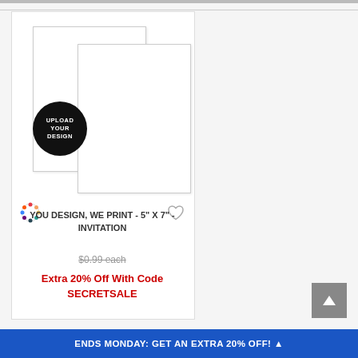[Figure (photo): Product card showing two overlapping white blank invitation cards (portrait orientation), with a black circular badge reading 'UPLOAD YOUR DESIGN', a colorful dot palette icon, and a heart/favorite icon.]
YOU DESIGN, WE PRINT - 5" X 7" - INVITATION
$0.99 each (strikethrough)
Extra 20% Off With Code SECRETSALE
ENDS MONDAY: GET AN EXTRA 20% OFF! ▲